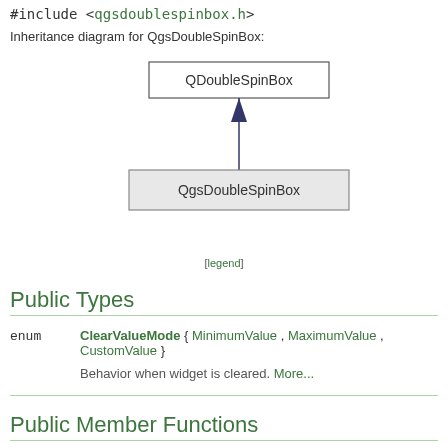#include <qgsdoublespinbox.h>
Inheritance diagram for QgsDoubleSpinBox:
[Figure (engineering-diagram): Inheritance diagram showing QDoubleSpinBox as parent class with an arrow pointing up from QgsDoubleSpinBox child class.]
[legend]
Public Types
enum ClearValueMode { MinimumValue , MaximumValue , CustomValue }
Behavior when widget is cleared. More...
Public Member Functions
QgsDoubleSpinBox (QWidget *parent=nullptr)